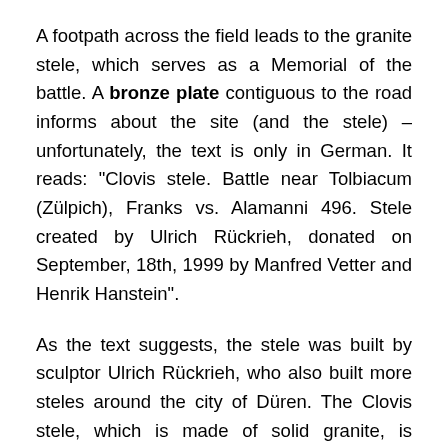A footpath across the field leads to the granite stele, which serves as a Memorial of the battle. A bronze plate contiguous to the road informs about the site (and the stele) – unfortunately, the text is only in German. It reads: "Clovis stele. Battle near Tolbiacum (Zülpich), Franks vs. Alamanni 496. Stele created by Ulrich Rückrieh, donated on September, 18th, 1999 by Manfred Vetter and Henrik Hanstein".
As the text suggests, the stele was built by sculptor Ulrich Rückrieh, who also built more steles around the city of Düren. The Clovis stele, which is made of solid granite, is several meters high. It was gifted to the city of Zülpich by the "Manfred Vetter charity foundation for Arts and Culture" and financed by Professor Hanstein, who paid a symbolic price of 100,000€ for the monument with one condition: The money had to be spent for a specific purpose – for the